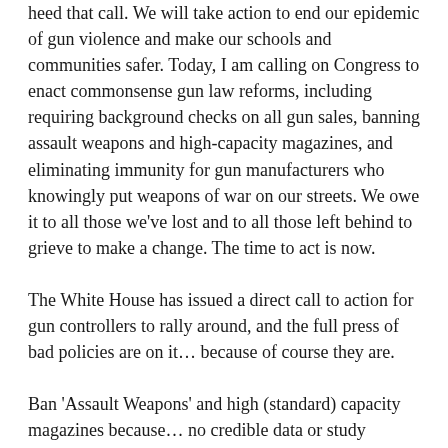heed that call. We will take action to end our epidemic of gun violence and make our schools and communities safer. Today, I am calling on Congress to enact commonsense gun law reforms, including requiring background checks on all gun sales, banning assault weapons and high-capacity magazines, and eliminating immunity for gun manufacturers who knowingly put weapons of war on our streets. We owe it to all those we've lost and to all those left behind to grieve to make a change. The time to act is now.
The White House has issued a direct call to action for gun controllers to rally around, and the full press of bad policies are on it… because of course they are.
Ban 'Assault Weapons' and high (standard) capacity magazines because… no credible data or study indicates that action would curb shooting deaths meaningfully or with any reliability. No one can credibly claim assault weapons or magazine bans would curb homicide rates. It is the most